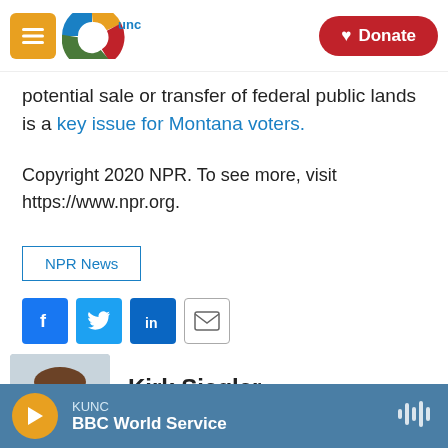KUNC | Donate
potential sale or transfer of federal public lands is a key issue for Montana voters.
Copyright 2020 NPR. To see more, visit https://www.npr.org.
NPR News
[Figure (infographic): Social sharing buttons: Facebook, Twitter, LinkedIn, Email]
[Figure (photo): Headshot photo of Kirk Siegler]
Kirk Siegler
KUNC | BBC World Service